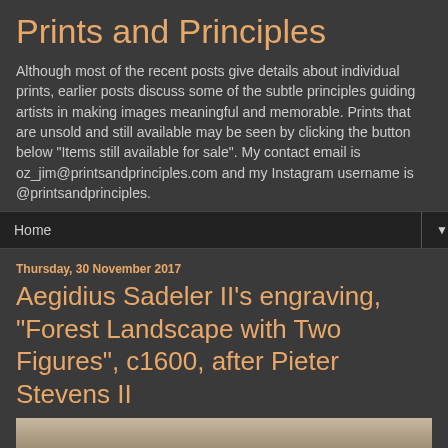Prints and Principles
Although most of the recent posts give details about individual prints, earlier posts discuss some of the subtle principles guiding artists in making images meaningful and memorable. Prints that are unsold and still available may be seen by clicking the button below "Items still available for sale". My contact email is oz_jim@printsandprinciples.com and my Instagram username is @printsandprinciples.
Home ▼
Thursday, 30 November 2017
Aegidius Sadeler II's engraving, "Forest Landscape with Two Figures", c1600, after Pieter Stevens II
[Figure (photo): Partial view of an engraving showing a forest landscape, appearing at the bottom of the page.]